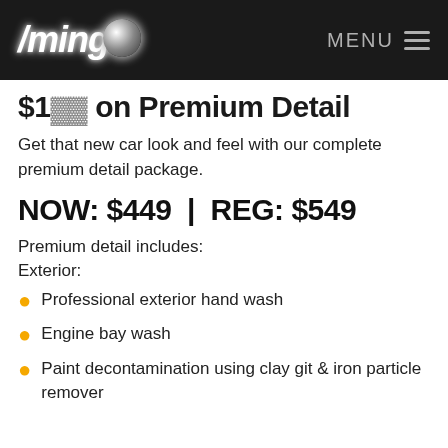Ming [logo] | MENU
$1__ on Premium Detail
Get that new car look and feel with our complete premium detail package.
NOW: $449 | REG: $549
Premium detail includes:
Exterior:
Professional exterior hand wash
Engine bay wash
Paint decontamination using clay git & iron particle remover